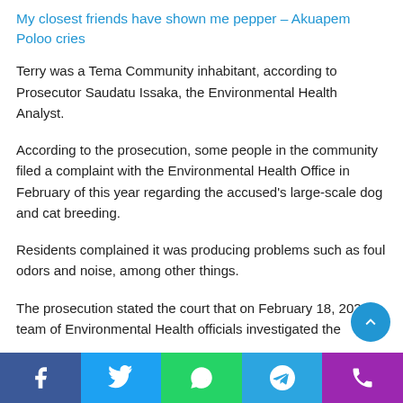My closest friends have shown me pepper – Akuapem Poloo cries
Terry was a Tema Community inhabitant, according to Prosecutor Saudatu Issaka, the Environmental Health Analyst.
According to the prosecution, some people in the community filed a complaint with the Environmental Health Office in February of this year regarding the accused's large-scale dog and cat breeding.
Residents complained it was producing problems such as foul odors and noise, among other things.
The prosecution stated the court that on February 18, 2022 team of Environmental Health officials investigated the
Social share bar: Facebook, Twitter, WhatsApp, Telegram, Phone